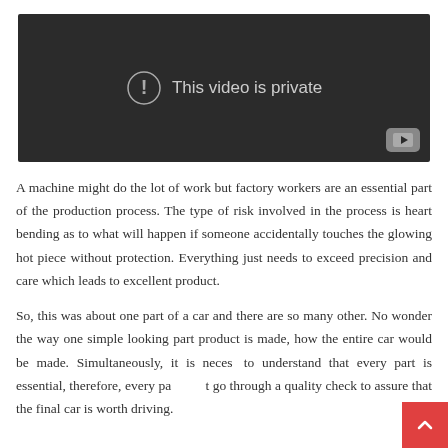[Figure (screenshot): A dark video player showing 'This video is private' message with an exclamation icon and a YouTube play button in the bottom right corner.]
A machine might do the lot of work but factory workers are an essential part of the production process. The type of risk involved in the process is heart bending as to what will happen if someone accidentally touches the glowing hot piece without protection. Everything just needs to exceed precision and care which leads to excellent product.
So, this was about one part of a car and there are so many other. No wonder the way one simple looking part product is made, how the entire car would be made. Simultaneously, it is necessary to understand that every part is essential, therefore, every part must go through a quality check to assure that the final car is worth driving.